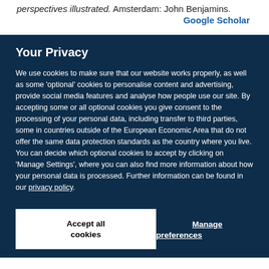perspectives illustrated. Amsterdam: John Benjamins.
Google Scholar
Your Privacy
We use cookies to make sure that our website works properly, as well as some 'optional' cookies to personalise content and advertising, provide social media features and analyse how people use our site. By accepting some or all optional cookies you give consent to the processing of your personal data, including transfer to third parties, some in countries outside of the European Economic Area that do not offer the same data protection standards as the country where you live. You can decide which optional cookies to accept by clicking on 'Manage Settings', where you can also find more information about how your personal data is processed. Further information can be found in our privacy policy.
Accept all cookies
Manage preferences